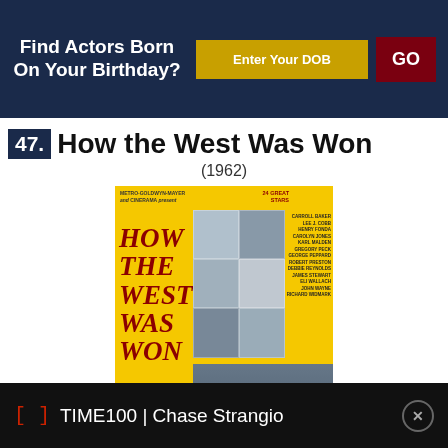Find Actors Born On Your Birthday?
Enter Your DOB
GO
47. How the West Was Won
(1962)
[Figure (photo): Movie poster for 'How the West Was Won' (1962) featuring yellow background with red title text and cast photo collage. Cast listed includes Carroll Baker, Lee J. Cobb, Henry Fonda, Carolyn Jones, Karl Malden, Gregory Peck, George Peppard, Robert Preston, Debbie Reynolds, James Stewart, Eli Wallach, John Wayne, Richard Widmark. Metro-Goldwyn-Mayer Cinerama production. 24 Great Stars.]
TIME100 | Chase Strangio